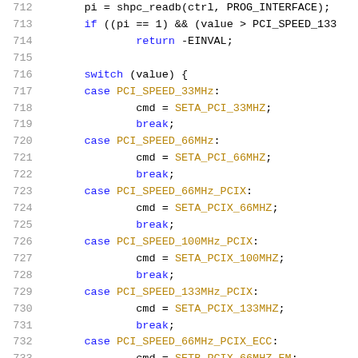[Figure (screenshot): Source code listing showing C code lines 712-733 with syntax highlighting. Line numbers in gray on the left, keywords in blue, constants in dark yellow/brown, and other code in black monospace font.]